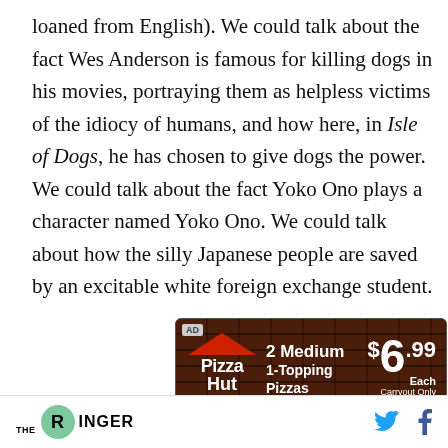loaned from English). We could talk about the fact Wes Anderson is famous for killing dogs in his movies, portraying them as helpless victims of the idiocy of humans, and how here, in Isle of Dogs, he has chosen to give dogs the power. We could talk about the fact Yoko Ono plays a character named Yoko Ono. We could talk about how the silly Japanese people are saved by an excitable white foreign exchange student.
[Figure (other): Pizza Hut advertisement: 2 Medium 1-Topping Pizzas $6.99 Each Carryout Only]
THE RINGER [social icons: Twitter, Facebook]